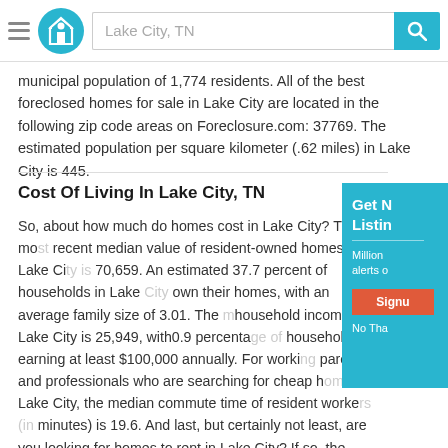Lake City, TN
municipal population of 1,774 residents. All of the best foreclosed homes for sale in Lake City are located in the following zip code areas on Foreclosure.com: 37769. The estimated population per square kilometer (.62 miles) in Lake City is 445.
Cost Of Living In Lake City, TN
So, about how much do homes cost in Lake City? The most recent median value of resident-owned homes in Lake City is 70,659. An estimated 37.7 percent of households in Lake City own their homes, with an average family size of 3.01. The household income in Lake City is 25,949, with0.9 percentage of households earning at least $100,000 annually. For working parents and professionals who are searching for cheap homes in Lake City, the median commute time of resident workers (in minutes) is 19.6. And last, but certainly not least, are you looking for homes to rent in Lake City? If so, the average rent price paid by renters in Lake City is 473, according to recent statistics.
Get New Listings
Millions of listing alerts once signed up
Signup
No Thanks